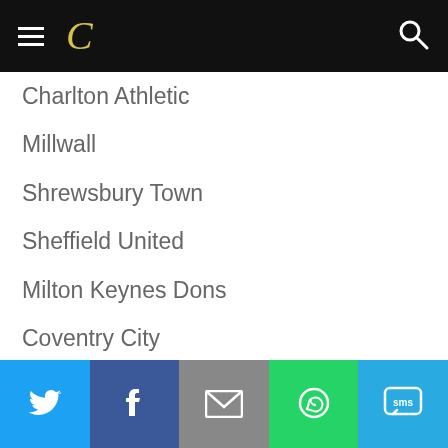C
Charlton Athletic
Millwall
Shrewsbury Town
Sheffield United
Milton Keynes Dons
Coventry City
Gillingham
Walsall
Bradford City
Oldham Athletic
Chesterfield
Port Vale
Twitter | Facebook | Email | WhatsApp | SMS